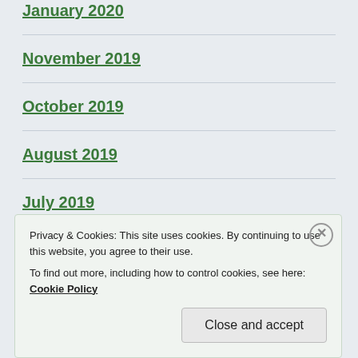January 2020
November 2019
October 2019
August 2019
July 2019
November 2018
October 2018
Privacy & Cookies: This site uses cookies. By continuing to use this website, you agree to their use. To find out more, including how to control cookies, see here: Cookie Policy
Close and accept